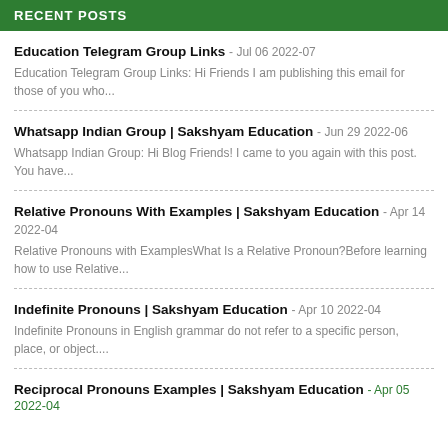RECENT POSTS
Education Telegram Group Links - Jul 06 2022-07
Education Telegram Group Links: Hi Friends I am publishing this email for those of you who...
Whatsapp Indian Group | Sakshyam Education - Jun 29 2022-06
Whatsapp Indian Group: Hi Blog Friends! I came to you again with this post. You have...
Relative Pronouns With Examples | Sakshyam Education - Apr 14 2022-04
Relative Pronouns with ExamplesWhat Is a Relative Pronoun?Before learning how to use Relative...
Indefinite Pronouns | Sakshyam Education - Apr 10 2022-04
Indefinite Pronouns in English grammar do not refer to a specific person, place, or object....
Reciprocal Pronouns Examples | Sakshyam Education - Apr 05 2022-04